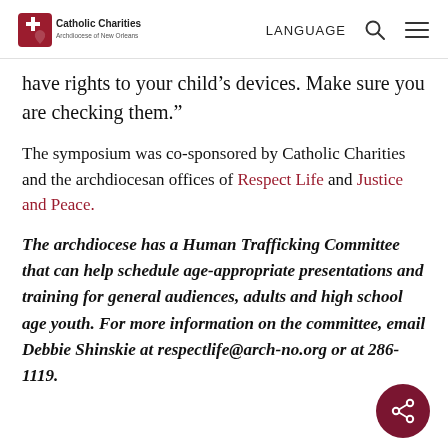Catholic Charities Archdiocese of New Orleans | LANGUAGE
have rights to your child’s devices. Make sure you are checking them.”
The symposium was co-sponsored by Catholic Charities and the archdiocesan offices of Respect Life and Justice and Peace.
The archdiocese has a Human Trafficking Committee that can help schedule age-appropriate presentations and training for general audiences, adults and high school age youth. For more information on the committee, email Debbie Shinskie at respectlife@arch-no.org or at 286-1119.